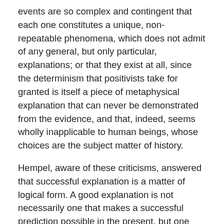events are so complex and contingent that each one constitutes a unique, non-repeatable phenomena, which does not admit of any general, but only particular, explanations; or that they exist at all, since the determinism that positivists take for granted is itself a piece of metaphysical explanation that can never be demonstrated from the evidence, and that, indeed, seems wholly inapplicable to human beings, whose choices are the subject matter of history.
Hempel, aware of these criticisms, answered that successful explanation is a matter of logical form. A good explanation is not necessarily one that makes a successful prediction possible in the present, but one which would have made a successful prediction possible at some point prior to the event. In physics, for instance, an explanation of the origins of the sun and the planets is not a prediction, but it is nonetheless given in a form